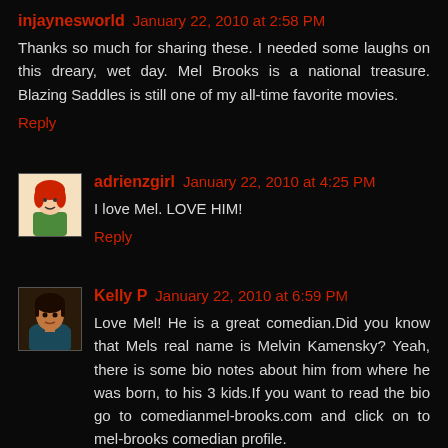injaynesworld January 22, 2010 at 2:58 PM
Thanks so much for sharing these. I needed some laughs on this dreary, wet day. Mel Brooks is a national treasure. Blazing Saddles is still one of my all-time favorite movies.
Reply
[Figure (illustration): Avatar for adrienzgirl - cartoon illustration of a girl with red hair and green outfit]
adrienzgirl January 22, 2010 at 4:25 PM
I love Mel. LOVE HIM!
Reply
[Figure (photo): Avatar photo for Kelly P - woman with dark hair]
Kelly P January 22, 2010 at 6:59 PM
Love Mel! He is a great comedian.Did you know that Mels real name is Melvin Kamensky? Yeah, there is some bio notes about him from where he was born, to his 3 kids.If you want to read the bio go to comedianmel-brooks.com and click on to mel-brooks comedian profile.
Just Love Mel Brooks